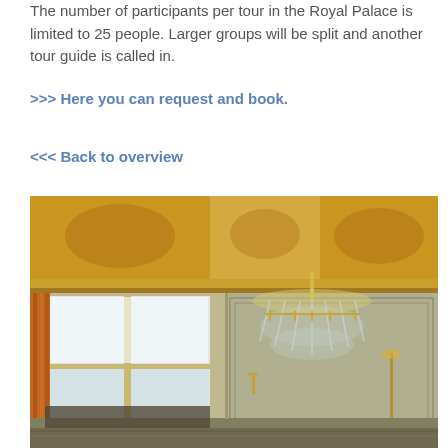The number of participants per tour in the Royal Palace is limited to 25 people. Larger groups will be split and another tour guide is called in.
>>> Here you can request and book.
<<< Back to overview
[Figure (photo): Interior of a royal palace room showing an ornate gilded ceiling with painted murals, large crystal chandelier, tall windows with orange/gold curtains, and marble walls with decorative panels.]